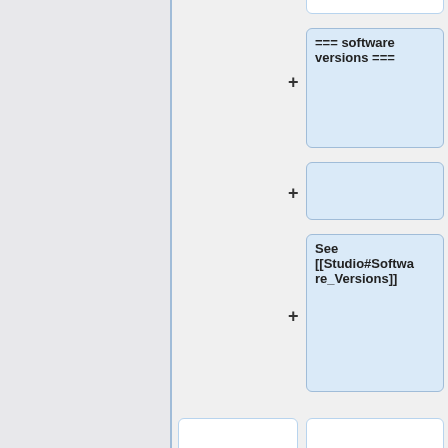[Figure (screenshot): Wiki diff/comparison interface showing two columns with boxed text nodes. Left gray panel, blue vertical divider, right side has two columns of content cards with plus signs and text blocks. Cards show wiki markup like '=== software versions ===', '=== img/ ===', and paragraph text about directory contents.]
=== software versions ===
See [[Studio#Software_Versions]]
=== img/ ===
=== img/ ===
This directory contains the images for your game (the game art).
This directory contains the images for your game (the game art).
When game